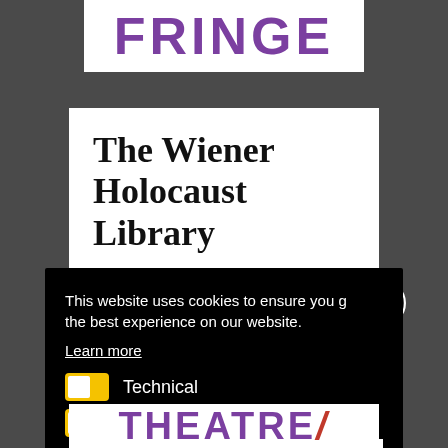[Figure (logo): FRINGE logo in purple bold text on white background]
[Figure (logo): The Wiener Holocaust Library logo in bold serif text on white background]
This website uses cookies to ensure you get the best experience on our website.
Learn more
Technical
Marketing
Save Settings
Allow
[Figure (logo): THEATRE partial logo in purple bold text on white background]